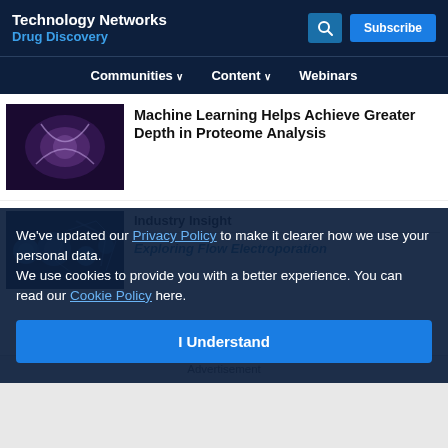Technology Networks
Drug Discovery
Communities ∨   Content ∨   Webinars
Machine Learning Helps Achieve Greater Depth in Proteome Analysis
Industry Insight
Exploring Flow Electroporation
We've updated our Privacy Policy to make it clearer how we use your personal data.
We use cookies to provide you with a better experience. You can read our Cookie Policy here.
Industry Insight
Therapeutics To Combat ALS
Advertisement